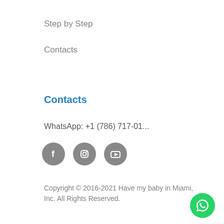Step by Step
Contacts
Contacts
WhatsApp: +1 (786) 717-01...
[Figure (illustration): Three social media icon circles: Facebook, Instagram, YouTube — all in gray]
Copyright © 2016-2021 Have my baby in Miami, Inc. All Rights Reserved.
[Figure (illustration): Green circular WhatsApp FAB button in bottom-right corner]